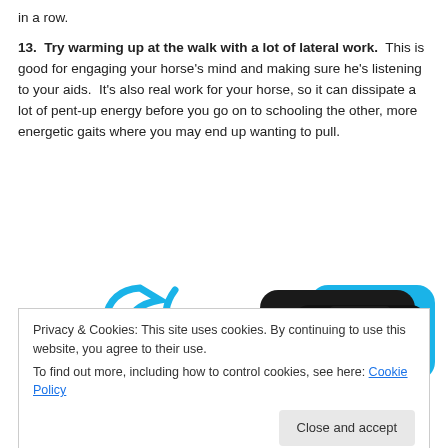in a row.
13.  Try warming up at the walk with a lot of lateral work.  This is good for engaging your horse’s mind and making sure he’s listening to your aids.  It’s also real work for your horse, so it can dissipate a lot of pent-up energy before you go on to schooling the other, more energetic gaits where you may end up wanting to pull.
[Figure (screenshot): Partial screenshot of a podcast/media app showing two overlapping phone screens with 'Up Next' UI, and a blue curved shape on the left. The image is partially obscured by a cookie consent banner.]
Privacy & Cookies: This site uses cookies. By continuing to use this website, you agree to their use.
To find out more, including how to control cookies, see here: Cookie Policy